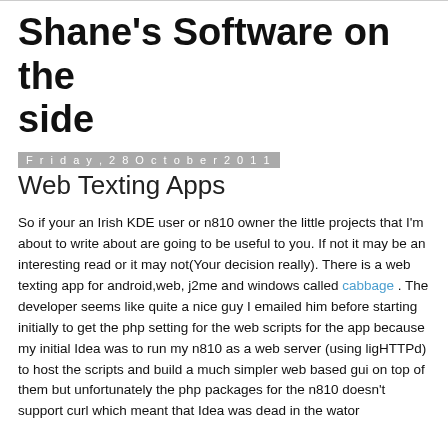Shane's Software on the side
Friday, 28 October 2011
Web Texting Apps
So if your an Irish KDE user or n810 owner the little projects that I'm about to write about are going to be useful to you. If not it may be an interesting read or it may not(Your decision really). There is a web texting app for android,web, j2me and windows called cabbage . The developer seems like quite a nice guy I emailed him before starting initially to get the php setting for the web scripts for the app because my initial Idea was to run my n810 as a web server (using ligHTTPd) to host the scripts and build a much simpler web based gui on top of them but unfortunately the php packages for the n810 doesn't support curl which meant that Idea was dead in the water.